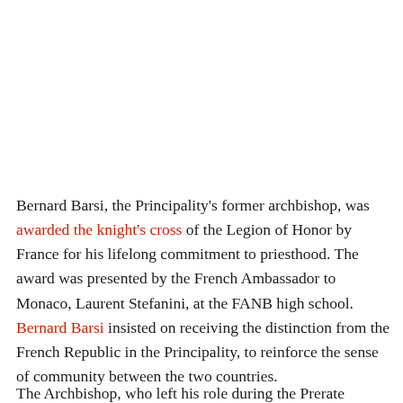Bernard Barsi, the Principality's former archbishop, was awarded the knight's cross of the Legion of Honor by France for his lifelong commitment to priesthood. The award was presented by the French Ambassador to Monaco, Laurent Stefanini, at the FANB high school. Bernard Barsi insisted on receiving the distinction from the French Republic in the Principality, to reinforce the sense of community between the two countries.
The Archbishop, who left his role during the Prerate...